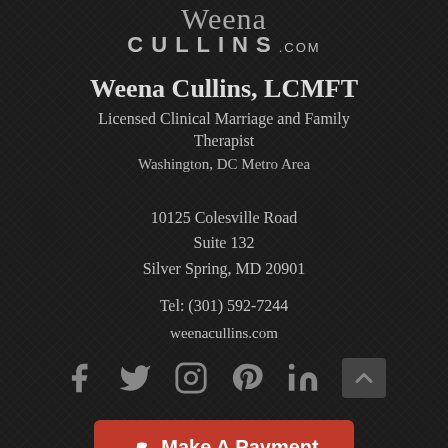[Figure (logo): Weena Cullins.com logo with script and sans-serif text]
Weena Cullins, LCMFT
Licensed Clinical Marriage and Family Therapist
Washington, DC Metro Area
10125 Colesville Road
Suite 132
Silver Spring, MD 20901
Tel: (301) 592-7244
weenacullins.com
[Figure (illustration): Social media icons: Facebook, Twitter, Instagram, Pinterest, LinkedIn, scroll-to-top button]
Make A Payment